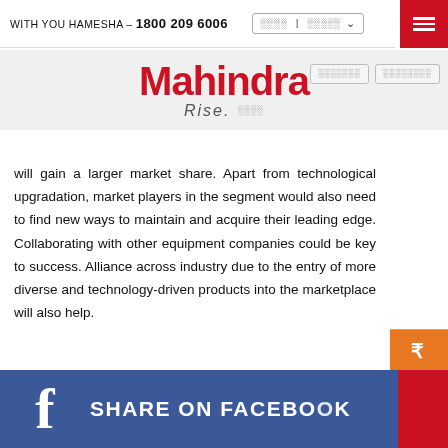WITH YOU HAMESHA – 1800 209 6006
[Figure (logo): Mahindra Rise logo with red Mahindra wordmark and italic Rise text]
will gain a larger market share. Apart from technological upgradation, market players in the segment would also need to find new ways to maintain and acquire their leading edge. Collaborating with other equipment companies could be key to success. Alliance across industry due to the entry of more diverse and technology-driven products into the marketplace will also help.
[Figure (infographic): Facebook Share banner with blue background, white Facebook f icon, and text SHARE ON FACEBOOK]